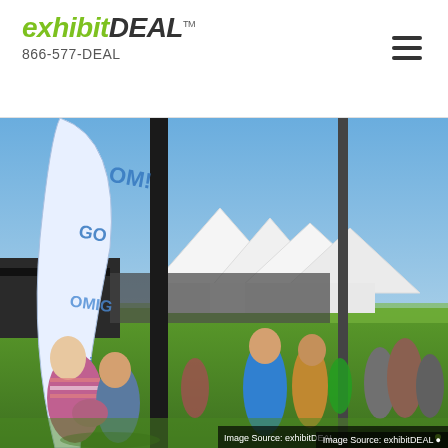exhibitDEAL™ 866-577-DEAL
[Figure (photo): Outdoor trade show or festival scene with tall white feather/teardrop banner flags printed with blue text, crowded grass field with white peak tents in the background, people browsing vendor booths on a sunny day]
Image Source: exhibitDEAL